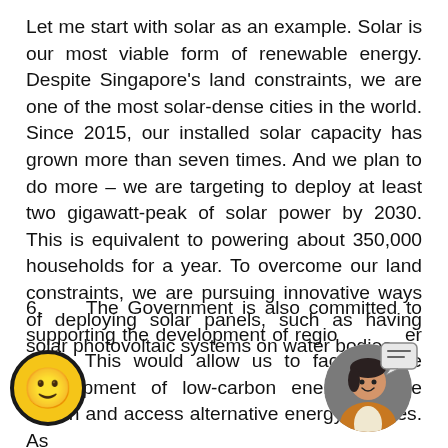Let me start with solar as an example. Solar is our most viable form of renewable energy. Despite Singapore's land constraints, we are one of the most solar-dense cities in the world. Since 2015, our installed solar capacity has grown more than seven times. And we plan to do more – we are targeting to deploy at least two gigawatt-peak of solar power by 2030. This is equivalent to powering about 350,000 households for a year. To overcome our land constraints, we are pursuing innovative ways of deploying solar panels, such as having solar photovoltaic systems on water bodies.
6.    The Government is also committed to supporting the development of regional power grids. This would allow us to facilitate the development of low-carbon energy in the region and access alternative energy sources. As